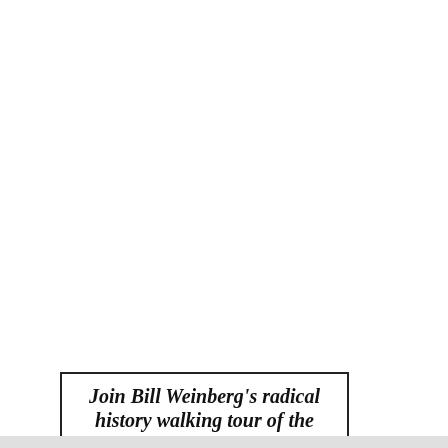[Figure (other): Promotional box with bold italic text 'Join Bill Weinberg's radical history walking tour of the Lower East Side' and a circular photo of people on a tour]
[Figure (screenshot): Advertisement banner for Sam's Club: logo showing 's clu', headline 'Get all the perks with Plus', body text 'Free Shipping. Every day at SamsClub.com. Exclusions apply.', URL 'www.samsclub.com', close button, blue arrow button, and 'Dp' sponsored label]